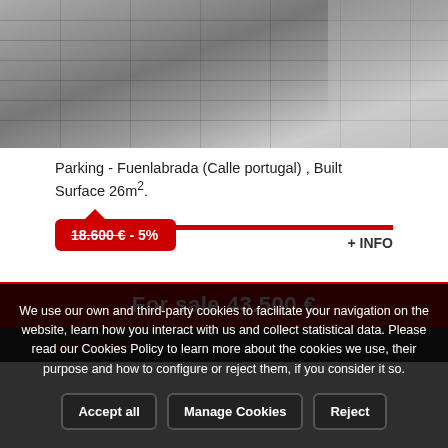[Figure (photo): Outdoor parking lot photo showing paved surface with grid lines, taken from above at an angle]
Parking - Fuenlabrada (Calle portugal) , Built Surface 26m².
18.600 € - 5%
+ INFO
For sale 43.500 €
QUESTION?
We use our own and third-party cookies to facilitate your navigation on the website, learn how you interact with us and collect statistical data. Please read our Cookies Policy to learn more about the cookies we use, their purpose and how to configure or reject them, if you consider it so.
Accept all
Manage Cookies
Reject